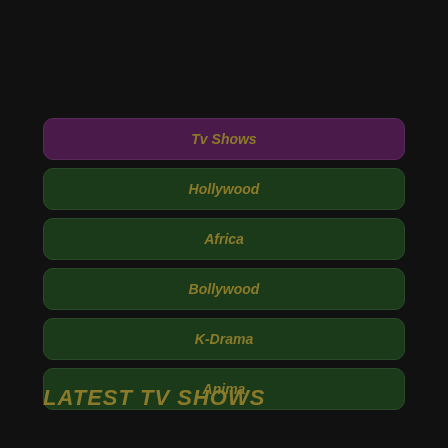Tv Shows
Hollywood
Africa
Bollywood
K-Drama
Anima
LATEST TV SHOWS